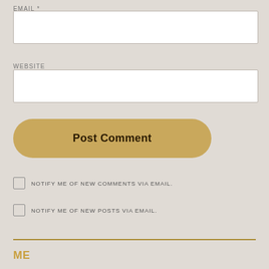EMAIL *
[Figure (other): Empty email input text field with white background and light border]
WEBSITE
[Figure (other): Empty website input text field with white background and light border]
Post Comment
NOTIFY ME OF NEW COMMENTS VIA EMAIL.
NOTIFY ME OF NEW POSTS VIA EMAIL.
ME